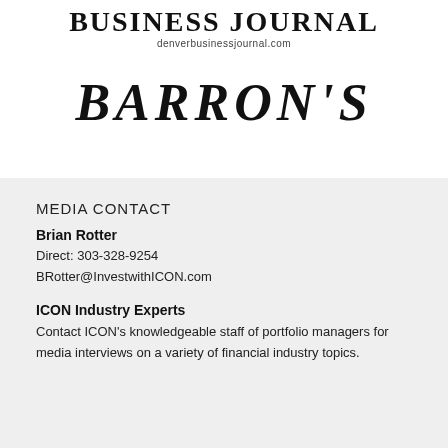[Figure (logo): Denver Business Journal logo with URL denverbusinessjournal.com]
[Figure (logo): Barron's magazine logo in large serif italic font]
MEDIA CONTACT
Brian Rotter
Direct: 303-328-9254
BRotter@InvestwithICON.com
ICON Industry Experts
Contact ICON's knowledgeable staff of portfolio managers for media interviews on a variety of financial industry topics.